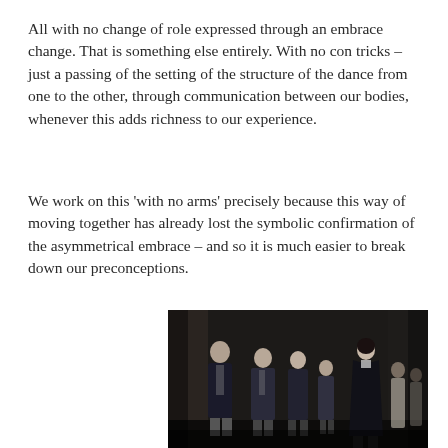All with no change of role expressed through an embrace change. That is something else entirely. With no con tricks – just a passing of the setting of the structure of the dance from one to the other, through communication between our bodies, whenever this adds richness to our experience.
We work on this ‘with no arms’ precisely because this way of moving together has already lost the symbolic confirmation of the asymmetrical embrace – and so it is much easier to break down our preconceptions.
[Figure (photo): Black and white photograph of a group of people standing on what appears to be a stage. Several men in suits are visible on the left, and a woman in a dark dress stands to the right. Additional figures are visible in the background.]